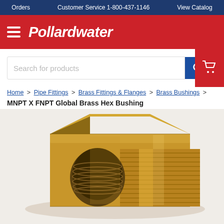Orders   Customer Service 1-800-437-1146   View Catalog
[Figure (logo): Pollardwater logo with hamburger menu icon on red background]
[Figure (screenshot): Search bar with blue search button and red cart tab on right]
Home > Pipe Fittings > Brass Fittings & Flanges > Brass Bushings > MNPT X FNPT Global Brass Hex Bushing
[Figure (photo): Close-up photo of a brass hex bushing fitting showing threaded male and female NPT connections]